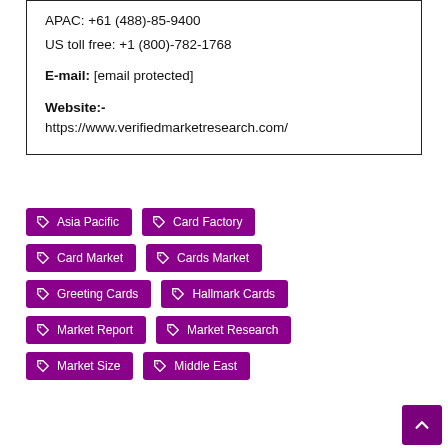APAC: +61 (488)-85-9400
US toll free: +1 (800)-782-1768
E-mail: [email protected]
Website:-
https://www.verifiedmarketresearch.com/
Asia Pacific
Card Factory
Card Market
Cards Market
Greeting Cards
Hallmark Cards
Market Report
Market Research
Market Size
Middle East